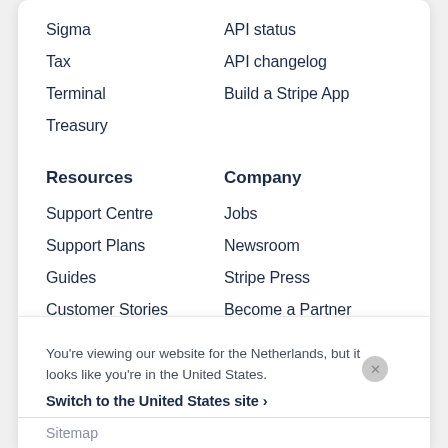Sigma
Tax
Terminal
Treasury
API status
API changelog
Build a Stripe App
Resources
Company
Support Centre
Support Plans
Guides
Customer Stories
Blog
Annual Conference
Jobs
Newsroom
Stripe Press
Become a Partner
You're viewing our website for the Netherlands, but it looks like you're in the United States.
Switch to the United States site ›
Sitemap